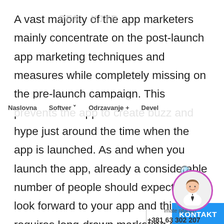[Figure (screenshot): A webpage screenshot showing a navigation bar with logo watermark 'PER KJTR', nav links (Naslovna, Softver, Odrzavanje+, Devel), a search icon, a phone/contact widget, a KONTAKT button, and a chat widget circle with avatar icon.]
A vast majority of the app marketers mainly concentrate on the post-launch app marketing techniques and measures while completely missing on the pre-launch campaign. This prevents the app to create buzz and hype just around the time when the app is launched. As and when you launch the app, already a considerable number of people should expectantly look forward to your app and this requires long-drawn marketing efforts to the app launch event. To create pre-launch buzz and hype about the app a mobile app development company has an array of marketing options like social media campaign, search engine ads, video ads, email options, etc. Apart from online options, you can also reach to the wider audience with traditional marketing options like outdoor ads, print ads, media ads, and promotional